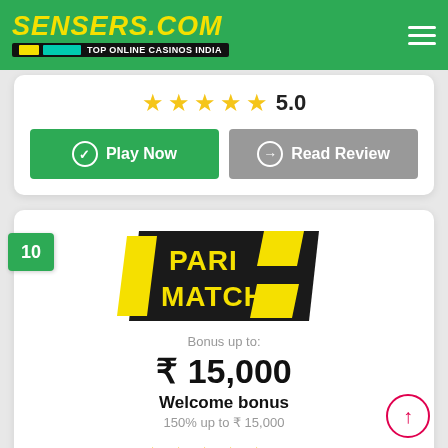SENSERS.COM — TOP ONLINE CASINOS INDIA
[Figure (screenshot): Star rating showing 5.0]
Play Now
Read Review
10
[Figure (logo): Parimatch logo in black and yellow]
Bonus up to:
₹ 15,000
Welcome bonus
150% up to ₹ 15,000
[Figure (screenshot): Star rating showing 5.0]
5.0